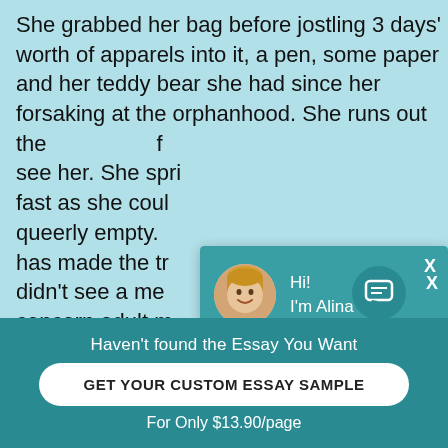She grabbed her bag before jostling 3 days' worth of apparels into it, a pen, some paper and her teddy bear she had since her forsaking at the orphanhood. She runs out the door of see her. She sprints fast as she could queerly empty. has made the tr didn't see a mer concern adult m streets were wh major electrical nowhere and a b
[Figure (screenshot): Chat popup with avatar of blonde woman named Alina, teal header, asking 'Would you like to get such a paper? How about receiving a customized one?' with 'Check it out' link]
Haven't found the Essay You Want
GET YOUR CUSTOM ESSAY SAMPLE
For Only $13.90/page